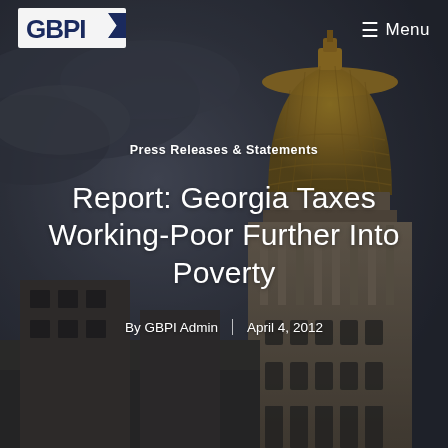[Figure (photo): Background photo of Georgia State Capitol building with golden dome against a dark cloudy sky]
GBPI | Menu
Press Releases & Statements
Report: Georgia Taxes Working-Poor Further Into Poverty
By GBPI Admin | April 4, 2012